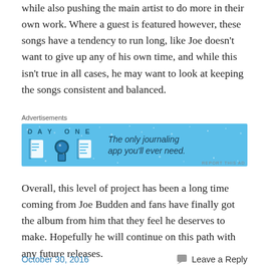while also pushing the main artist to do more in their own work. Where a guest is featured however, these songs have a tendency to run long, like Joe doesn't want to give up any of his own time, and while this isn't true in all cases, he may want to look at keeping the songs consistent and balanced.
[Figure (other): Advertisement banner for Day One journaling app. Blue background with 'DAY ONE' text, illustrated icons of a journal, person, and notepad, and tagline 'The only journaling app you'll ever need.']
Overall, this level of project has been a long time coming from Joe Budden and fans have finally got the album from him that they feel he deserves to make. Hopefully he will continue on this path with any future releases.
October 30, 2016    Leave a Reply